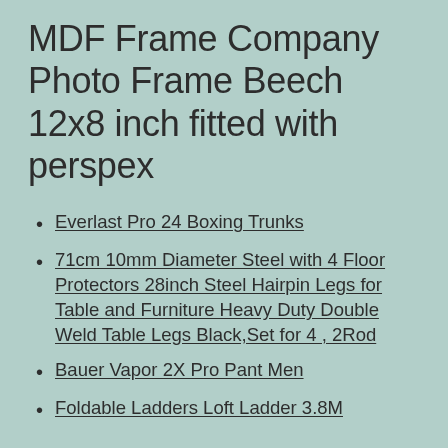MDF Frame Company Photo Frame Beech 12x8 inch fitted with perspex
Everlast Pro 24 Boxing Trunks
71cm 10mm Diameter Steel with 4 Floor Protectors 28inch Steel Hairpin Legs for Table and Furniture Heavy Duty Double Weld Table Legs Black,Set for 4 , 2Rod
Bauer Vapor 2X Pro Pant Men
Foldable Ladders Loft Ladder 3.8M